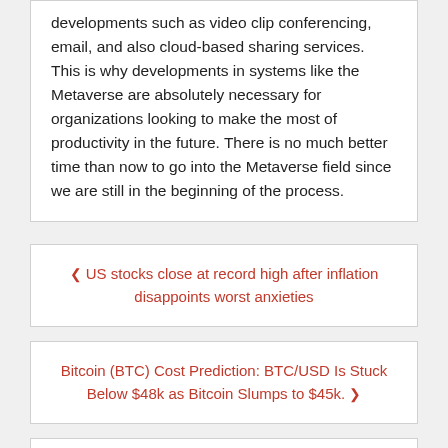developments such as video clip conferencing, email, and also cloud-based sharing services. This is why developments in systems like the Metaverse are absolutely necessary for organizations looking to make the most of productivity in the future. There is no much better time than now to go into the Metaverse field since we are still in the beginning of the process.
◀ US stocks close at record high after inflation disappoints worst anxieties
Bitcoin (BTC) Cost Prediction: BTC/USD Is Stuck Below $48k as Bitcoin Slumps to $45k. ▶
RECENT POSTS
Together will probablyacement learn acquired elite vital...